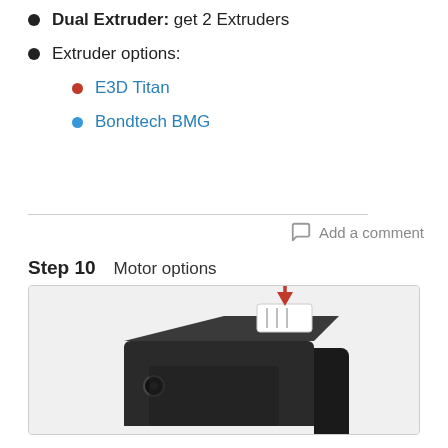Dual Extruder: get 2 Extruders
Extruder options:
E3D Titan
Bondtech BMG
Add a comment
Step 10   Motor options
[Figure (photo): Photo of a stepper motor with a white connector plug on top, with a red arrow pointing down toward the connector. The motor is black and square-shaped.]